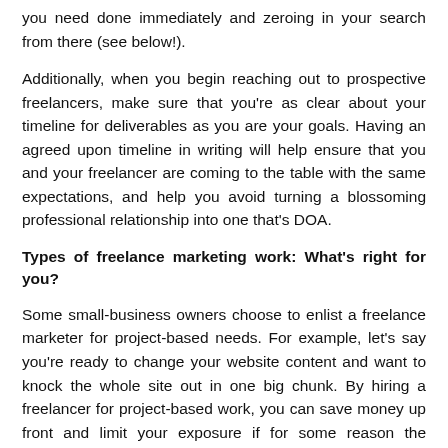you need done immediately and zeroing in your search from there (see below!).
Additionally, when you begin reaching out to prospective freelancers, make sure that you're as clear about your timeline for deliverables as you are your goals. Having an agreed upon timeline in writing will help ensure that you and your freelancer are coming to the table with the same expectations, and help you avoid turning a blossoming professional relationship into one that's DOA.
Types of freelance marketing work: What's right for you?
Some small-business owners choose to enlist a freelance marketer for project-based needs. For example, let's say you're ready to change your website content and want to knock the whole site out in one big chunk. By hiring a freelancer for project-based work, you can save money up front and limit your exposure if for some reason the freelancer doesn't work out. Testing a freelancer with one project is common for small businesses hiring their first freelancer, and one that most freelancers are more than happy to accommodate.